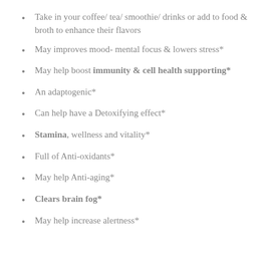Take in your coffee/ tea/ smoothie/ drinks or add to food & broth to enhance their flavors
May improves mood- mental focus & lowers stress*
May help boost immunity & cell health supporting*
An adaptogenic*
Can help have a Detoxifying effect*
Stamina, wellness and vitality*
Full of Anti-oxidants*
May help Anti-aging*
Clears brain fog*
May help increase alertness*